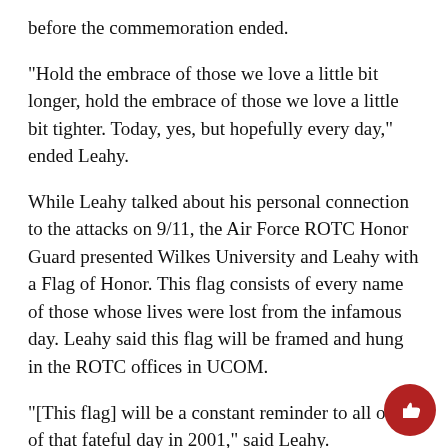before the commemoration ended.
“Hold the embrace of those we love a little bit longer, hold the embrace of those we love a little bit tighter. Today, yes, but hopefully every day,” ended Leahy.
While Leahy talked about his personal connection to the attacks on 9/11, the Air Force ROTC Honor Guard presented Wilkes University and Leahy with a Flag of Honor. This flag consists of every name of those whose lives were lost from the infamous day. Leahy said this flag will be framed and hung in the ROTC offices in UCOM.
“[This flag] will be a constant reminder to all of us of that fateful day in 2001,” said Leahy.
A similar flag flies at the Maxwell Air Force Base in Alabama where Wilkes ROTC cadets go for their fie